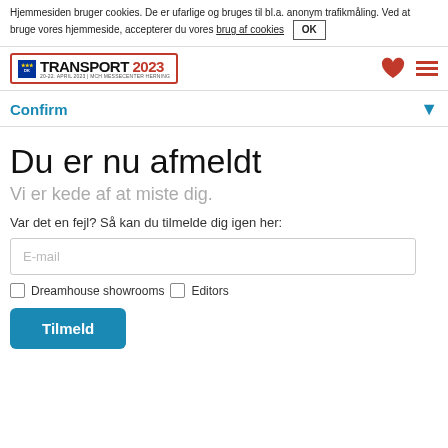Hjemmesiden bruger cookies. De er ufarlige og bruges til bl.a. anonym trafikmåling. Ved at bruge vores hjemmeside, accepterer du vores brug af cookies  OK
[Figure (logo): Transport 2023 event logo with EU flag, red border, text '20-22. APRIL 2023 I MCH MESSECENTER HERNING']
[Figure (illustration): Red heart icon and hamburger menu icon (three red lines)]
Confirm
Du er nu afmeldt
Vi er kede af at miste dig.
Var det en fejl? Så kan du tilmelde dig igen her:
E-mail
Dreamhouse showrooms  Editors
Tilmeld